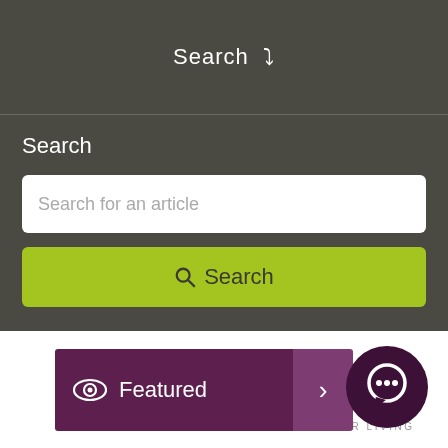Search ∨
Search
Search for an article
Search
[Figure (screenshot): Featured navigation button with eye icon and arrow, overlapping a guide website interface with 'ver's Gui' text visible and a chat bubble icon. 'SENIOR LIVING' text below.]